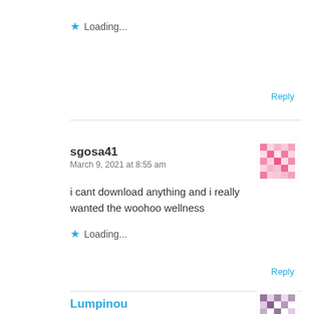Loading...
Reply
sgosa41
March 9, 2021 at 8:55 am
i cant download anything and i really wanted the woohoo wellness
Loading...
Reply
Lumpinou